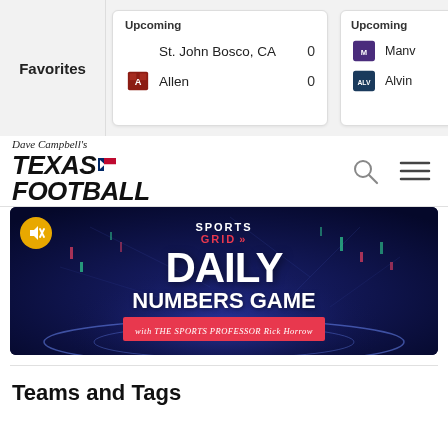Favorites
Upcoming
St. John Bosco, CA 0
Allen 0
Upcoming
Manv
Alvin
[Figure (logo): Dave Campbell's Texas Football logo with search and menu icons]
[Figure (screenshot): SportsGrid Daily Numbers Game with THE SPORTS PROFESSOR Rick Horrow video thumbnail on dark blue background]
Teams and Tags